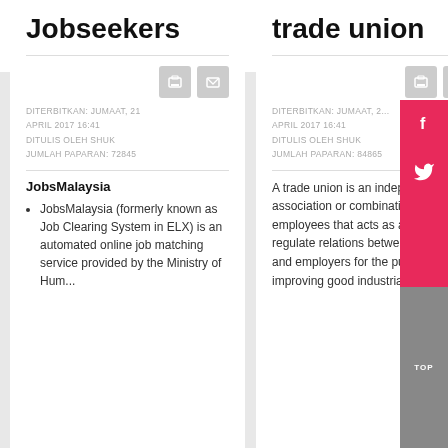KATEGORI: SITE CONTENT
Jobseekers
DITERBITKAN: JUMAAT, 21 APRIL 2017 16:41
DITULIS OLEH SHUK
JUMLAH PAPARAN: 72845
JobsMalaysia
JobsMalaysia (formerly known as Job Clearing System in ELX) is an automated online job matching service provided by the Ministry of Human...
trade union
DITERBITKAN: JUMAAT, 21 APRIL 2017 16:41
DITULIS OLEH SHUK
JUMLAH PAPARAN: 84865
A trade union is an independent association or combination of employees that acts as a voice to regulate relations between employees and employers for the purpose of improving good industrial...